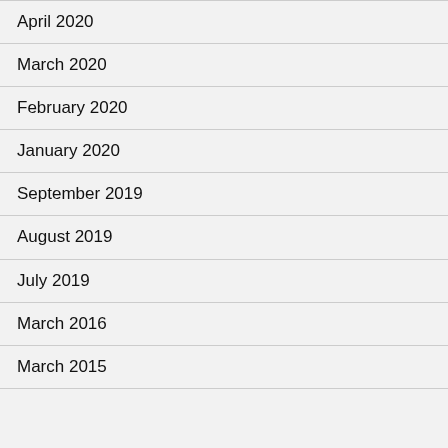April 2020
March 2020
February 2020
January 2020
September 2019
August 2019
July 2019
March 2016
March 2015